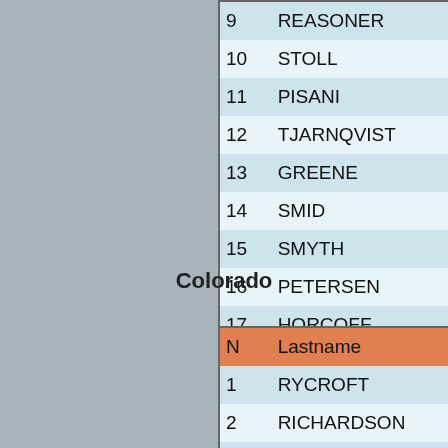| N | Lastname | I | Plus | Minus | D |
| --- | --- | --- | --- | --- | --- |
| 9 | REASONER | M | 33 | 34 | -2 |
| 10 | STOLL | J | 38 | 41 | -3 |
| 11 | PISANI | F | 33 | 39 | -6 |
| 12 | TJARNQVIST | D | 53 | 62 | -9 |
| 13 | GREENE | M | 35 | 45 | -10 |
| 14 | SMID | L | 43 | 54 | -11 |
| 15 | SMYTH | R | 46 | 57 | -11 |
| 16 | PETERSEN | T | 22 | 34 | -12 |
| 17 | HORCOFF | S | 42 | 62 | -21 |
| 18 | SMITH | J | 37 | 72 | -34 |
Colorado
| N | Lastname | I | Plus | Minus | D |
| --- | --- | --- | --- | --- | --- |
| 1 | RYCROFT | M | 52 | 13 | 40 |
| 2 | RICHARDSON | B | 54 | 24 | 30 |
| 3 | HEJDUK | M | 71 | 41 | 30 |